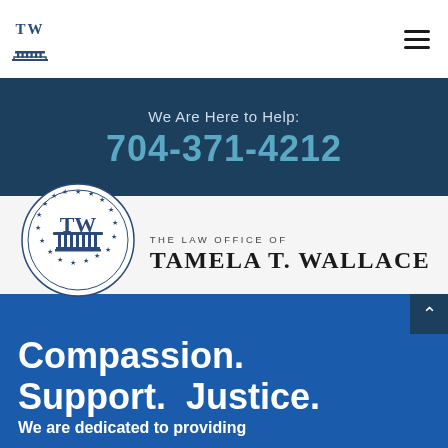[Figure (logo): TW law office small logo with columns icon in header]
We Are Here to Help:
704-371-4212
[Figure (logo): The Law Office of Tamela T. Wallace circular logo with stars and columns, with full firm name text]
Compassion. Support. Justice.
We are dedicated to providing